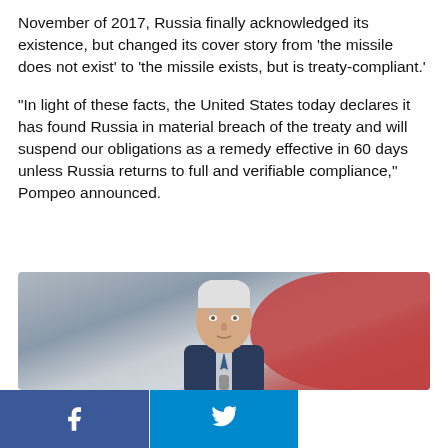November of 2017, Russia finally acknowledged its existence, but changed its cover story from 'the missile does not exist' to 'the missile exists, but is treaty-compliant.'
“In light of these facts, the United States today declares it has found Russia in material breach of the treaty and will suspend our obligations as a remedy effective in 60 days unless Russia returns to full and verifiable compliance,” Pompeo announced.
[Figure (photo): Photo of a man (Mike Pence) with white/grey hair, wearing a suit, in front of a red and grey background]